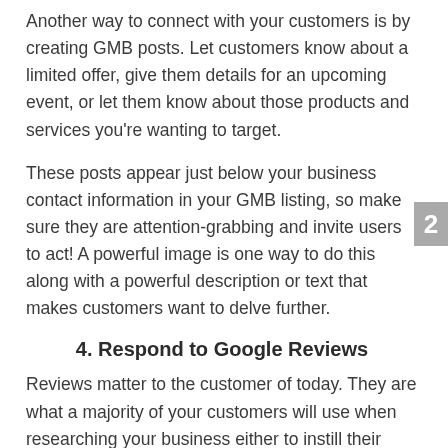Another way to connect with your customers is by creating GMB posts. Let customers know about a limited offer, give them details for an upcoming event, or let them know about those products and services you're wanting to target.
These posts appear just below your business contact information in your GMB listing, so make sure they are attention-grabbing and invite users to act! A powerful image is one way to do this along with a powerful description or text that makes customers want to delve further.
4. Respond to Google Reviews
Reviews matter to the customer of today. They are what a majority of your customers will use when researching your business either to instill their